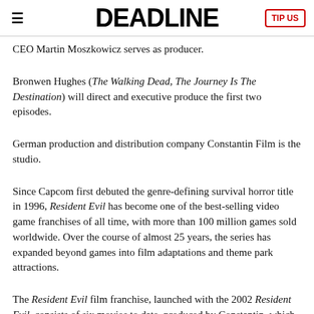DEADLINE
CEO Martin Moszkowicz serves as producer.
Bronwen Hughes (The Walking Dead, The Journey Is The Destination) will direct and executive produce the first two episodes.
German production and distribution company Constantin Film is the studio.
Since Capcom first debuted the genre-defining survival horror title in 1996, Resident Evil has become one of the best-selling video game franchises of all time, with more than 100 million games sold worldwide. Over the course of almost 25 years, the series has expanded beyond games into film adaptations and theme park attractions.
The Resident Evil film franchise, launched with the 2002 Resident Evil, consists of six movies to date, produced by Constantin, which